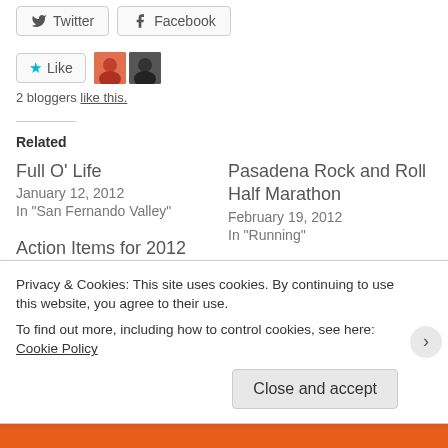[Figure (other): Social share buttons: Twitter and Facebook]
[Figure (other): Like button with two blogger avatars]
2 bloggers like this.
Related
Full O' Life
January 12, 2012
In "San Fernando Valley"
Pasadena Rock and Roll Half Marathon
February 19, 2012
In "Running"
Action Items for 2012
January 2, 2012
In "Home"
Privacy & Cookies: This site uses cookies. By continuing to use this website, you agree to their use.
To find out more, including how to control cookies, see here: Cookie Policy
Close and accept